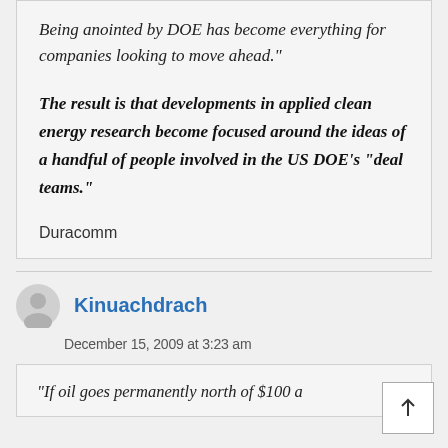"Being anointed by DOE has become everything for companies looking to move ahead."
The result is that developments in applied clean energy research become focused around the ideas of a handful of people involved in the US DOE’s “deal teams.”
Duracomm
Kinuachdrach
December 15, 2009 at 3:23 am
"If oil goes permanently north of $100 a